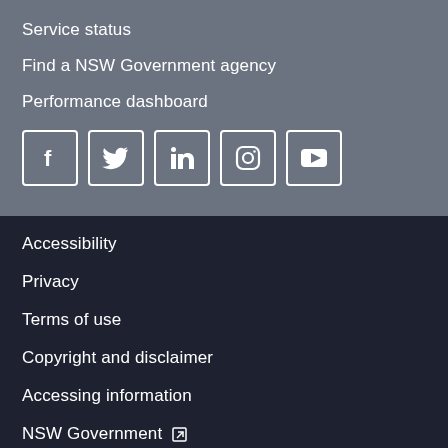Service status
Find a NSW Government agency
Performance dashboard
[Figure (illustration): Row of 5 social media icons: Facebook, Twitter, LinkedIn, Instagram, YouTube — white icons in rounded-square outlines]
Accessibility
Privacy
Terms of use
Copyright and disclaimer
Accessing information
NSW Government [external link]